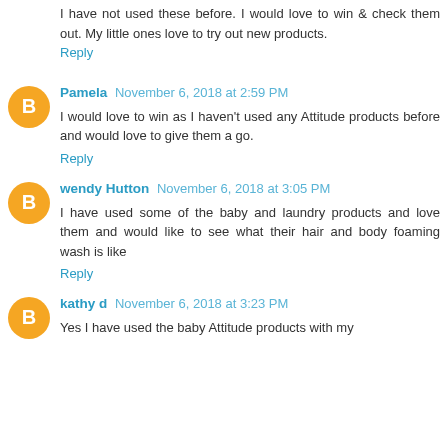I have not used these before. I would love to win & check them out. My little ones love to try out new products.
Reply
Pamela November 6, 2018 at 2:59 PM
I would love to win as I haven't used any Attitude products before and would love to give them a go.
Reply
wendy Hutton November 6, 2018 at 3:05 PM
I have used some of the baby and laundry products and love them and would like to see what their hair and body foaming wash is like
Reply
kathy d November 6, 2018 at 3:23 PM
Yes I have used the baby Attitude products with my